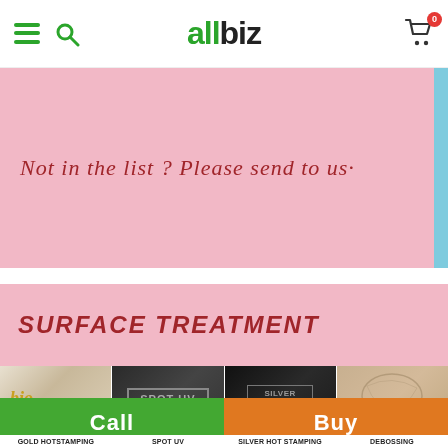allbiz
Not in the list ? Please send to us·
SURFACE TREATMENT
[Figure (photo): Grid of surface treatment samples: Gold Hotstamping, Spot UV, Silver Hot Stamping, Debossing, plus second row of additional treatments]
GOLD HOTSTAMPING   SPOT UV   SILVER HOT STAMPING   DEBOSSING
Call   Buy